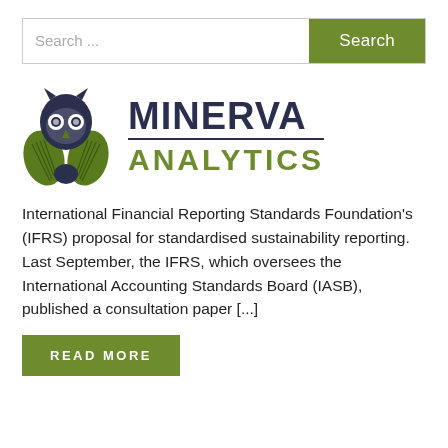Search ...
[Figure (logo): Minerva Analytics logo with owl icon and brand name]
International Financial Reporting Standards Foundation's (IFRS) proposal for standardised sustainability reporting. Last September, the IFRS, which oversees the International Accounting Standards Board (IASB), published a consultation paper [...]
READ MORE